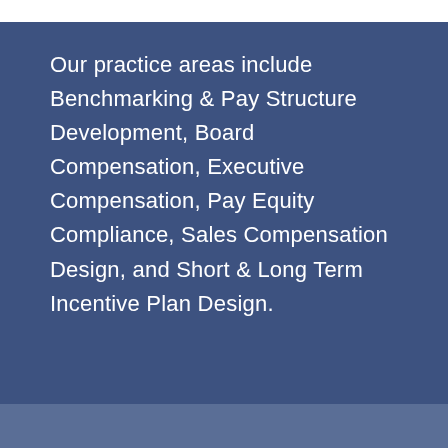Our practice areas include Benchmarking & Pay Structure Development, Board Compensation, Executive Compensation, Pay Equity Compliance, Sales Compensation Design, and Short & Long Term Incentive Plan Design.